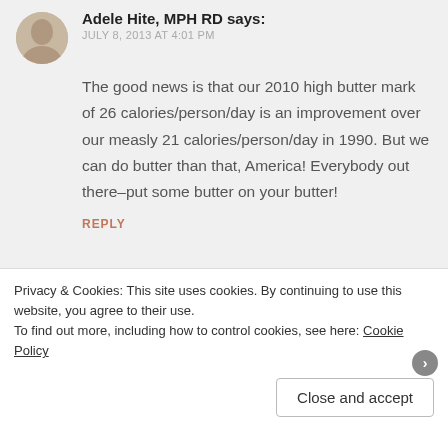Adele Hite, MPH RD says:
JULY 8, 2013 AT 4:01 PM
The good news is that our 2010 high butter mark of 26 calories/person/day is an improvement over our measly 21 calories/person/day in 1990. But we can do butter than that, America! Everybody out there–put some butter on your butter!
REPLY
Joshua Tenner says:
Privacy & Cookies: This site uses cookies. By continuing to use this website, you agree to their use.
To find out more, including how to control cookies, see here: Cookie Policy
Close and accept